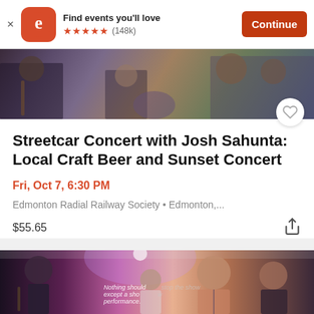Find events you'll love ★★★★★ (148k) Continue
[Figure (photo): Concert/event photo at top of event listing card — musicians with instruments in outdoor setting]
Streetcar Concert with Josh Sahunta: Local Craft Beer and Sunset Concert
Fri, Oct 7, 6:30 PM
Edmonton Radial Railway Society • Edmonton,...
$55.65
[Figure (photo): Band performing on stage under purple/pink lighting in a tent venue. Text overlay reads 'Nothing should stop the show except a show performance.']